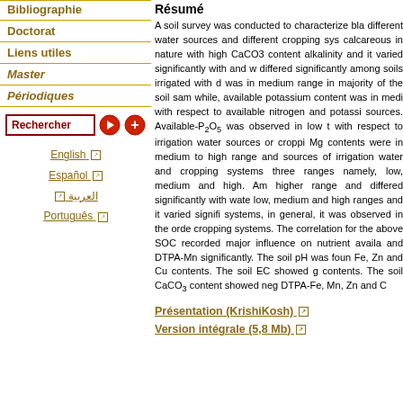Bibliographie
Doctorat
Liens utiles
Master
Périodiques
Rechercher
English
Español
العربية
Português
Résumé
A soil survey was conducted to characterize bla different water sources and different cropping sys calcareous in nature with high CaCO3 content alkalinity and it varied significantly with and w differed significantly among soils irrigated with d was in medium range in majority of the soil sam while, available potassium content was in medi with respect to available nitrogen and potassi sources. Available-P2O5 was observed in low t with respect to irrigation water sources or croppi Mg contents were in medium to high range and sources of irrigation water and cropping systems three ranges namely, low, medium and high. Am higher range and differed significantly with wate low, medium and high ranges and it varied signifi systems, in general, it was observed in the orde cropping systems. The correlation for the above SOC recorded major influence on nutrient availa and DTPA-Mn significantly. The soil pH was foun Fe, Zn and Cu contents. The soil EC showed g contents. The soil CaCO3 content showed neg DTPA-Fe, Mn, Zn and C
Présentation (KrishiKosh)
Version intégrale (5,8 Mb)